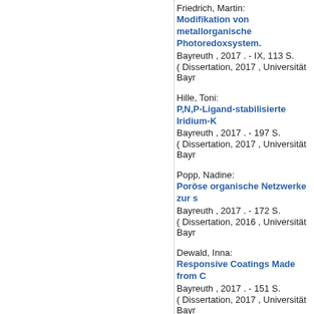Friedrich, Martin:
Modifikation von metallorganische Photoredoxsystem.
Bayreuth , 2017 . - IX, 113 S.
( Dissertation, 2017 , Universität Bayr
Hille, Toni:
P,N,P-Ligand-stabilisierte Iridium-K
Bayreuth , 2017 . - 197 S.
( Dissertation, 2017 , Universität Bayr
Popp, Nadine:
Poröse organische Netzwerke zur s
Bayreuth , 2017 . - 172 S.
( Dissertation, 2016 , Universität Bayr
Dewald, Inna:
Responsive Coatings Made from C
Bayreuth , 2017 . - 151 S.
( Dissertation, 2017 , Universität Bayr
Haase, Robert:
Totalsynthese natürlicher, hochfu
Bayreuth , 2017 . - VI, 143 S.
( Dissertation, 2017 , Universität Bayr
Cerantola, Valerio:
The effect of pressure, temperatu